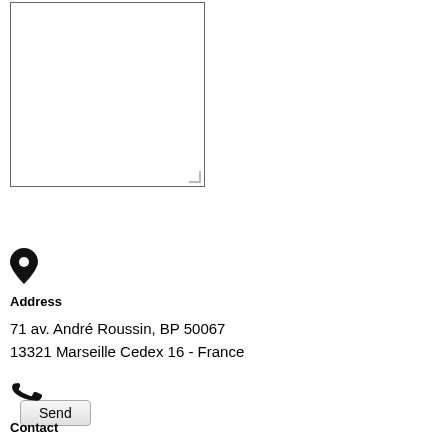[Figure (screenshot): A textarea input box with resize handle in bottom-right corner]
Send
[Figure (illustration): Map pin / location icon]
Address
71 av. André Roussin, BP 50067
13321 Marseille Cedex 16 - France
[Figure (illustration): Phone handset icon]
Contact